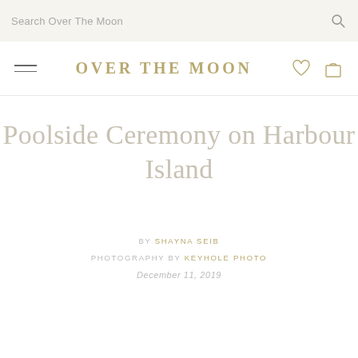Search Over The Moon
OVER THE MOON
Poolside Ceremony on Harbour Island
BY SHAYNA SEIB
PHOTOGRAPHY BY KEYHOLE PHOTO
December 11, 2019